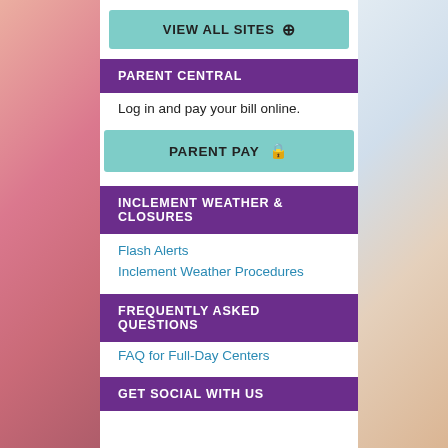[Figure (screenshot): VIEW ALL SITES button with magnify icon in teal/mint color]
PARENT CENTRAL
Log in and pay your bill online.
[Figure (screenshot): PARENT PAY button with lock icon in teal/mint color]
INCLEMENT WEATHER & CLOSURES
Flash Alerts
Inclement Weather Procedures
FREQUENTLY ASKED QUESTIONS
FAQ for Full-Day Centers
GET SOCIAL WITH US